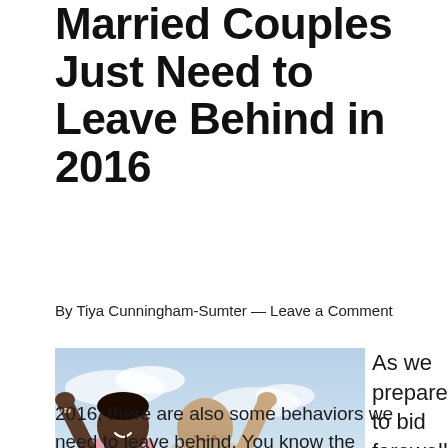Married Couples Just Need to Leave Behind in 2016
By Tiya Cunningham-Sumter — Leave a Comment
[Figure (photo): An older couple, smiling and waving their hands in the air against a blue sky background.]
As we prepare to bid farewell to the year 2016, there are also some behaviors we need to leave behind. You know the